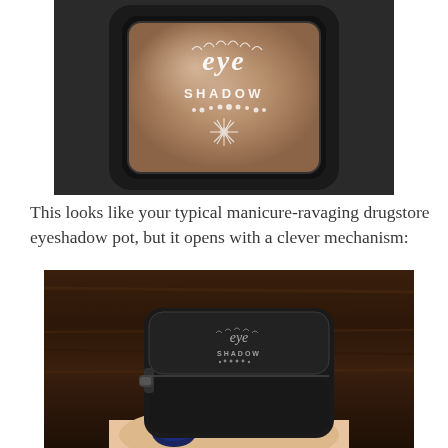[Figure (photo): Close-up photo of an eyeshadow pot with a black square frame, showing a shimmery rose-taupe eyeshadow pan labeled 'eye SHADOW' in white decorative lettering with snowflake/lash motifs, against a dark background.]
This looks like your typical manicure-ravaging drugstore eyeshadow pot, but it opens with a clever mechanism:
[Figure (photo): Close-up photo of a hand (with glittery navy nail polish) holding a small black square eyeshadow compact closed, viewed from the side against a dark wood-grain background. The top of the compact shows the same 'eye shadow' white logo. The bottom shows a push-button opening mechanism.]